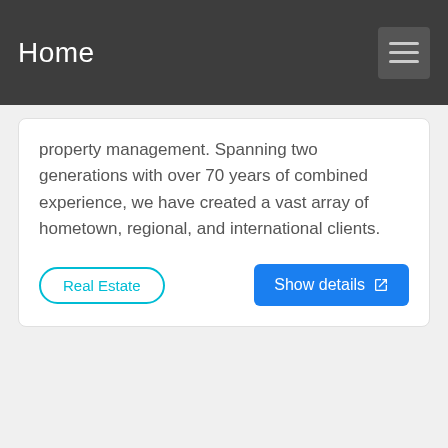Home
property management. Spanning two generations with over 70 years of combined experience, we have created a vast array of hometown, regional, and international clients.
Real Estate
Show details